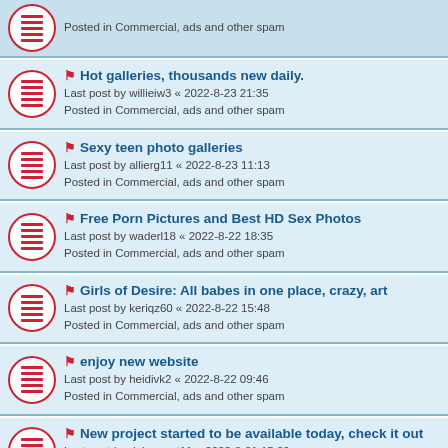Posted in Commercial, ads and other spam
Hot galleries, thousands new daily.
Last post by willieiw3 « 2022-8-23 21:35
Posted in Commercial, ads and other spam
Sexy teen photo galleries
Last post by allierg11 « 2022-8-23 11:13
Posted in Commercial, ads and other spam
Free Porn Pictures and Best HD Sex Photos
Last post by waderl18 « 2022-8-22 18:35
Posted in Commercial, ads and other spam
Girls of Desire: All babes in one place, crazy, art
Last post by keriqz60 « 2022-8-22 15:48
Posted in Commercial, ads and other spam
enjoy new website
Last post by heidivk2 « 2022-8-22 09:46
Posted in Commercial, ads and other spam
New project started to be available today, check it out
Last post by deloresmt11 « 2022-8-21 15:29
Posted in Commercial, ads and other spam
enjoy new website
Last post by janinekl16 « 2022-8-21 09:30
Posted in Commercial, ads and other spam
Dirty Porn Photos, daily updated galleries
Last post by nicoledn11 « 2022-8-20 18:56
Posted in Commercial, ads and other spam